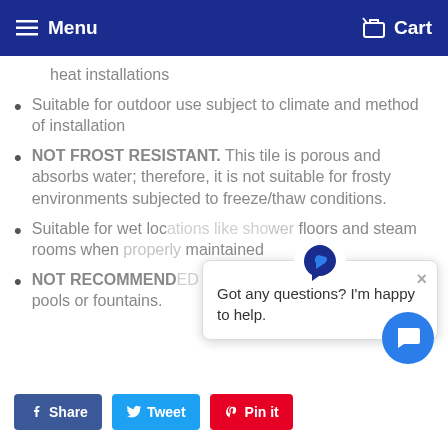Menu  Cart
heat installations
Suitable for outdoor use subject to climate and method of installation
NOT FROST RESISTANT. This tile is porous and absorbs water; therefore, it is not suitable for frosty environments subjected to freeze/thaw conditions.
Suitable for wet locations like shower floors and steam rooms when maintained
NOT RECOMMEND like pools or fountains.
Got any questions? I'm happy to help.
Share  Tweet  Pin it